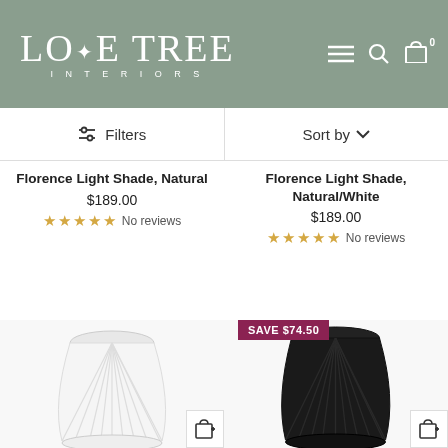LOVE TREE INTERIORS
Filters | Sort by
Florence Light Shade, Natural
$189.00
★ ★ ★ ★ ★ No reviews
Florence Light Shade, Natural/White
$189.00
★ ★ ★ ★ ★ No reviews
SAVE $74.50
[Figure (photo): White woven pendant lamp shade from below]
[Figure (photo): Black woven pendant lamp shade from below]